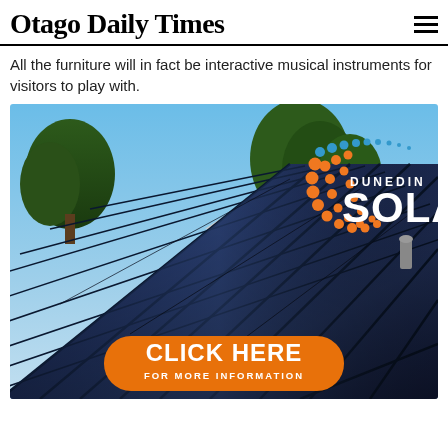Otago Daily Times
All the furniture will in fact be interactive musical instruments for visitors to play with.
[Figure (photo): Advertisement for Dunedin Solar featuring solar panels on a rooftop with trees and blue sky in the background. The Dunedin Solar logo with orange and blue dots is in the upper right. An orange rounded button at the bottom reads 'CLICK HERE FOR MORE INFORMATION'.]